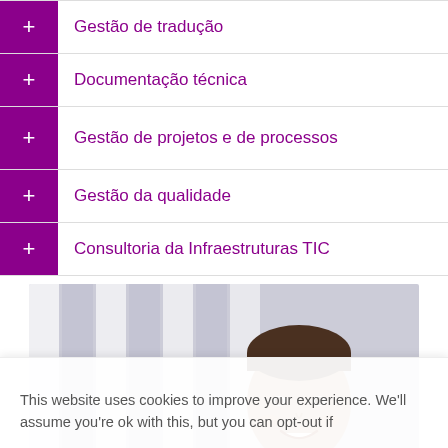+ Gestão de tradução
+ Documentação técnica
+ Gestão de projetos e de processos
+ Gestão da qualidade
+ Consultoria da Infraestruturas TIC
[Figure (photo): A smiling man photographed in front of vertical window blinds, cropped from shoulders up.]
This website uses cookies to improve your experience. We'll assume you're ok with this, but you can opt-out if